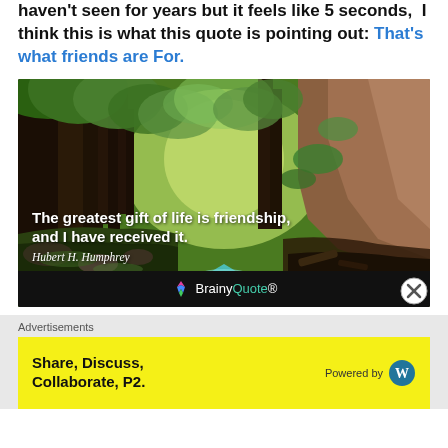haven't seen for years but it feels like 5 seconds, I think this is what this quote is pointing out: That's what friends are For.
[Figure (photo): Forest nature photo with a stream and lush green trees. Overlaid quote: 'The greatest gift of life is friendship, and I have received it.' attributed to Hubert H. Humphrey. BrainyQuote logo at bottom.]
Advertisements
Share, Discuss, Collaborate, P2. Powered by [WordPress logo]